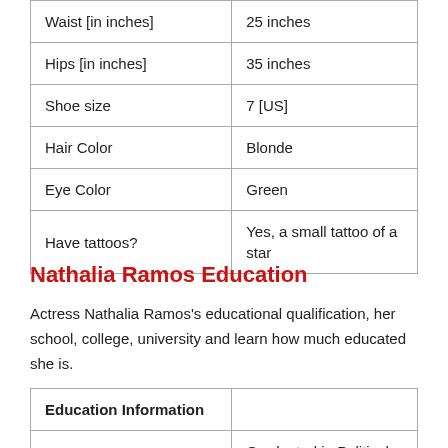| Waist [in inches] | 25 inches |
| Hips [in inches] | 35 inches |
| Shoe size | 7 [US] |
| Hair Color | Blonde |
| Eye Color | Green |
| Have tattoos? | Yes, a small tattoo of a star |
Nathalia Ramos Education
Actress Nathalia Ramos's educational qualification, her school, college, university and learn how much educated she is.
| Education Information |  |
| --- | --- |
|  | Graduated in Political |